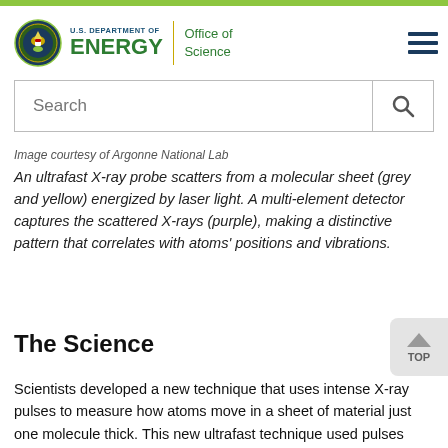[Figure (logo): U.S. Department of Energy Office of Science logo with circular seal and hamburger menu icon]
[Figure (screenshot): Search bar with magnifying glass icon]
Image courtesy of Argonne National Lab
An ultrafast X-ray probe scatters from a molecular sheet (grey and yellow) energized by laser light. A multi-element detector captures the scattered X-rays (purple), making a distinctive pattern that correlates with atoms' positions and vibrations.
The Science
Scientists developed a new technique that uses intense X-ray pulses to measure how atoms move in a sheet of material just one molecule thick. This new ultrafast technique used pulses from the Linac Coherent Light